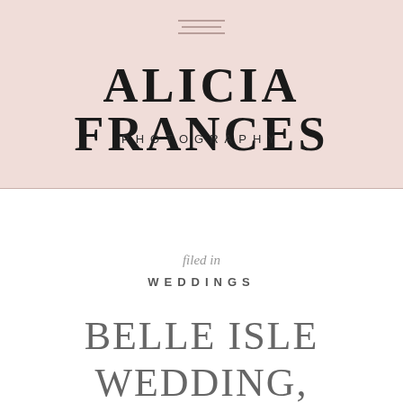[Figure (logo): Alicia Frances Photography logo on pink background with hamburger menu icon at top center, large serif brand name 'ALICIA FRANCES' and spaced-letter subtitle 'PHOTOGRAPHY']
filed in
WEDDINGS
BELLE ISLE WEDDING, DETROIT MICHIGAN